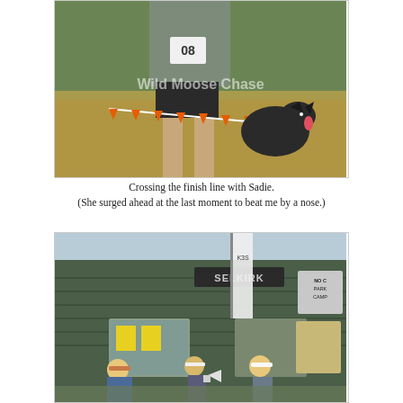[Figure (photo): A trail runner crossing the finish line with a black dog (Sadie) beside them, orange bunting flags in the foreground, forest in background. Watermark text reads 'Wild Moose Chase'.]
Crossing the finish line with Sadie.
(She surged ahead at the last moment to beat me by a nose.)
[Figure (photo): People gathered in front of a green building with a 'SELKIRK' sign, a race banner/flag visible, some people holding a megaphone. Yellow flyers posted on windows.]